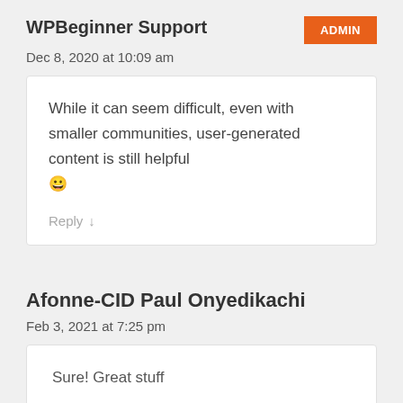WPBeginner Support
Dec 8, 2020 at 10:09 am
While it can seem difficult, even with smaller communities, user-generated content is still helpful 😀
Reply ↓
Afonne-CID Paul Onyedikachi
Feb 3, 2021 at 7:25 pm
Sure! Great stuff